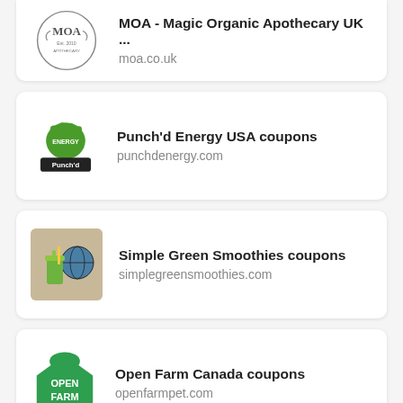MOA - Magic Organic Apothecary UK ...
moa.co.uk
Punch'd Energy USA coupons
punchdenergy.com
Simple Green Smoothies coupons
simplegreensmoothies.com
Open Farm Canada coupons
openfarmpet.com
(partial card at bottom)